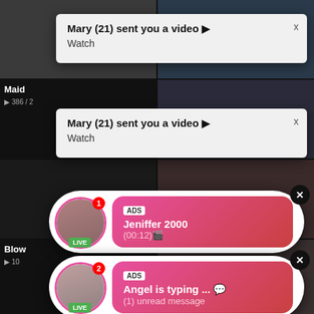[Figure (screenshot): Screenshot of a video website with adult content thumbnails and fake ad notification popups. Two 'Mary (21) sent you a video' notification boxes appear at the top. Two chat-style ad bubbles appear: one for 'Jeniffer 2000' with LIVE badge and (00:12) timestamp, another for 'Angel is typing...' with (1) unread message. Background shows video grid with labels 'Maid' (386 views) and 'Blow' (10 views).]